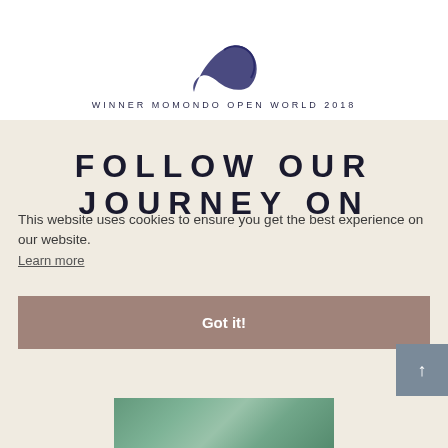[Figure (logo): Partial logo/illustration at top center, dark blue bird/whale shape]
WINNER MOMONDO OPEN WORLD 2018
FOLLOW OUR JOURNEY ON
This website uses cookies to ensure you get the best experience on our website. Learn more
Got it!
[Figure (photo): Partial landscape/travel photo at bottom]